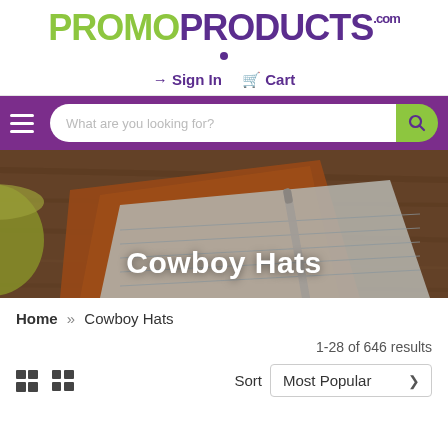[Figure (logo): PromoProducts.com logo with PROMO in green and PRODUCTS in purple, large uppercase sans-serif text]
→ Sign In  🛒 Cart
[Figure (screenshot): Purple navigation bar with hamburger menu and search box with green search button reading 'What are you looking for?']
[Figure (photo): Hero banner image showing a wooden desk with a notebook, pen, and green cup, overlaid with white text 'Cowboy Hats']
Home » Cowboy Hats
1-28 of 646 results
Sort  Most Popular